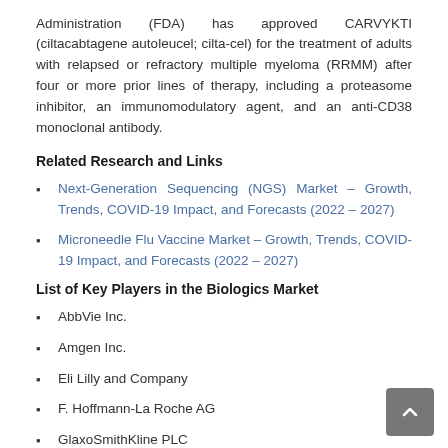Administration (FDA) has approved CARVYKTI (ciltacabtagene autoleucel; cilta-cel) for the treatment of adults with relapsed or refractory multiple myeloma (RRMM) after four or more prior lines of therapy, including a proteasome inhibitor, an immunomodulatory agent, and an anti-CD38 monoclonal antibody.
Related Research and Links
Next-Generation Sequencing (NGS) Market – Growth, Trends, COVID-19 Impact, and Forecasts (2022 – 2027)
Microneedle Flu Vaccine Market – Growth, Trends, COVID-19 Impact, and Forecasts (2022 – 2027)
List of Key Players in the Biologics Market
AbbVie Inc.
Amgen Inc.
Eli Lilly and Company
F. Hoffmann-La Roche AG
GlaxoSmithKline PLC
Johnson & Johnson
Merck & Co.